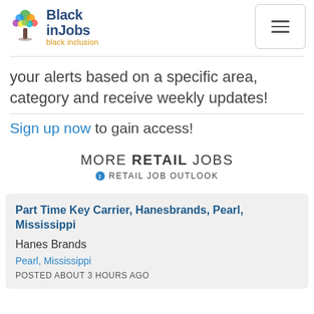Black inJobs — black inclusion
your alerts based on a specific area, category and receive weekly updates!
Sign up now to gain access!
MORE RETAIL JOBS
RETAIL JOB OUTLOOK
Part Time Key Carrier, Hanesbrands, Pearl, Mississippi
Hanes Brands
Pearl, Mississippi
POSTED ABOUT 3 HOURS AGO